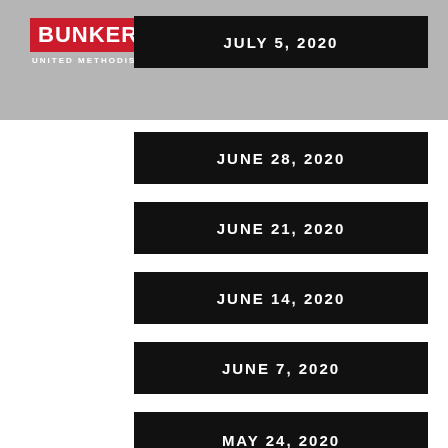Bunker Hill United Methodist Church
JULY 5, 2020
JUNE 28, 2020
JUNE 21, 2020
JUNE 14, 2020
JUNE 7, 2020
MAY 31, 2020
MAY 24, 2020